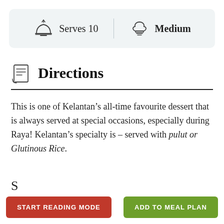[Figure (infographic): Info bar showing Serves 10 with a cloche/bell icon and Medium with a chef hat icon, separated by a vertical divider, on a light blue-grey background.]
Directions
This is one of Kelantan’s all-time favourite dessert that is always served at special occasions, especially during Raya! Kelantan’s specialty is – served with pulut or Glutinous Rice.
[Figure (other): Partially visible section below the text body, cut off at the bottom.]
START READING MODE
ADD TO MEAL PLAN